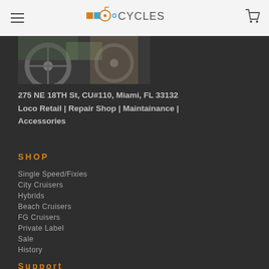Loco Cycles navigation header with logo and cart icon
[Figure (photo): Partial photo of bicycles, cropped at top]
275 NE 18TH St, CU#110, Miami, FL 33132
Loco Retail | Repair Shop | Maintainance | Accessories
SHOP
Single Speed/Fixies
City Cruisers
Hybrids
Beach Cruisers
FG Cruisers
Private Label
Sale
History
Support